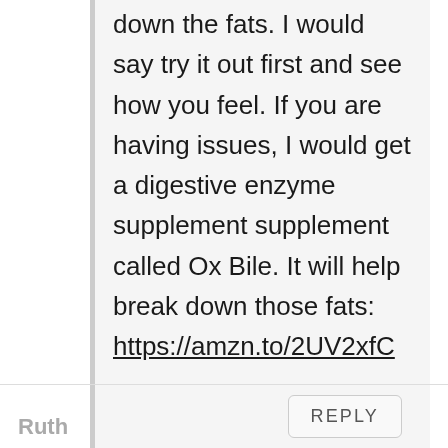down the fats. I would say try it out first and see how you feel. If you are having issues, I would get a digestive enzyme supplement supplement called Ox Bile. It will help break down those fats: https://amzn.to/2UV2xfC
REPLY
Ruth